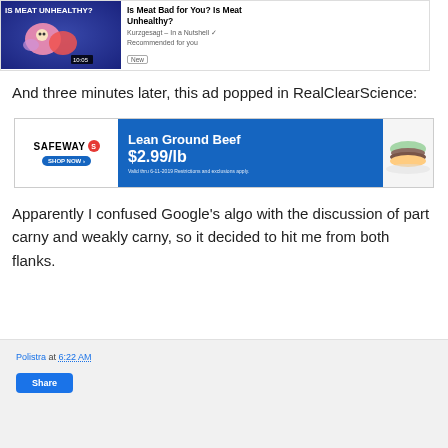[Figure (screenshot): YouTube video recommendation card for 'Is Meat Bad for You? Is Meat Unhealthy?' by Kurzgesagt - In a Nutshell, marked as Recommended for you and New, duration 10:05]
And three minutes later, this ad popped in RealClearScience:
[Figure (screenshot): Safeway advertisement showing 'Lean Ground Beef $2.99/lb' with SHOP NOW button, valid thru 6-11-2019. Restrictions and exclusions apply.]
Apparently I confused Google's algo with the discussion of part carny and weakly carny, so it decided to hit me from both flanks.
Polistra at 6:22 AM
Share